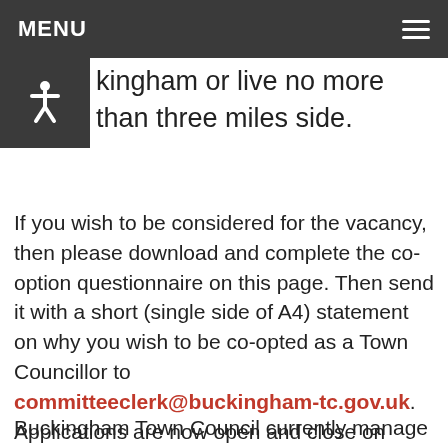MENU
kingham or live no more than three miles side.
If you wish to be considered for the vacancy, then please download and complete the co-option questionnaire on this page. Then send it with a short (single side of A4) statement on why you wish to be co-opted as a Town Councillor to committeeclerk@buckingham-tc.gov.uk. Applications are now open and close on Friday 28th May 2021. The winning candidate will be chosen during the 7th June 2021 meeting of the Interim Full Council.
Buckingham Town Council currently manage a